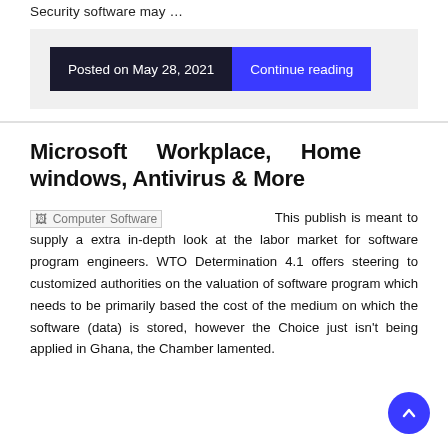Security software may …
Posted on May 28, 2021   Continue reading
Microsoft Workplace, Home windows, Antivirus & More
Computer Software   This publish is meant to supply a extra in-depth look at the labor market for software program engineers. WTO Determination 4.1 offers steering to customized authorities on the valuation of software program which needs to be primarily based the cost of the medium on which the software (data) is stored, however the Choice just isn't being applied in Ghana, the Chamber lamented.